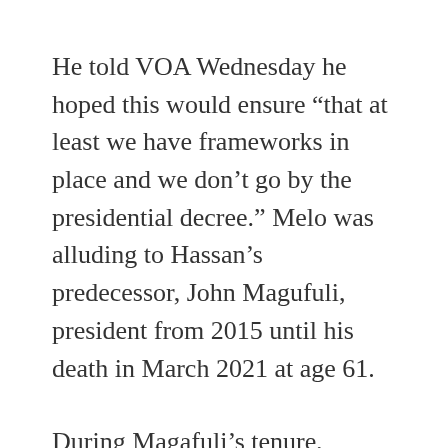He told VOA Wednesday he hoped this would ensure “that at least we have frameworks in place and we don’t go by the presidential decree.” Melo was alluding to Hassan’s predecessor, John Magufuli, president from 2015 until his death in March 2021 at age 61.
During Magafuli’s tenure, journalists were often arrested for critical coverage of government and political dissent was discouraged. Tanzania’s ranking in Reporters Without Borders’ annual press